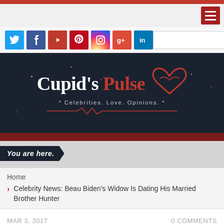Cupid's Pulse — Celebrities. Love. Opinions.
[Figure (logo): Cupid's Pulse logo on dark navy background with red heart graphic and tagline 'Celebrities. Love. Opinions.']
You are here.
Home
Celebrity News: Beau Biden's Widow Is Dating His Married Brother Hunter
MAR 3, 2017    0 COMMENTS